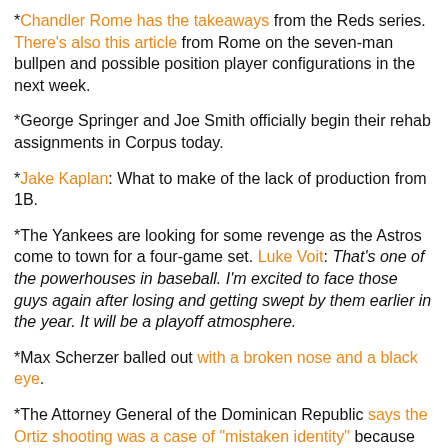*Chandler Rome has the takeaways from the Reds series. There's also this article from Rome on the seven-man bullpen and possible position player configurations in the next week.
*George Springer and Joe Smith officially begin their rehab assignments in Corpus today.
*Jake Kaplan: What to make of the lack of production from 1B.
*The Yankees are looking for some revenge as the Astros come to town for a four-game set. Luke Voit: That's one of the powerhouses in baseball. I'm excited to face those guys again after losing and getting swept by them earlier in the year. It will be a playoff atmosphere.
*Max Scherzer balled out with a broken nose and a black eye.
*The Attorney General of the Dominican Republic says the Ortiz shooting was a case of "mistaken identity" because no